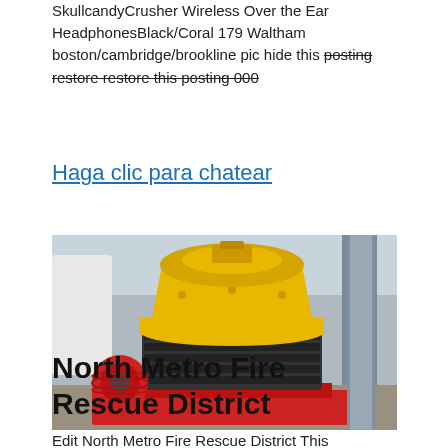SkullcandyCrusher Wireless Over the Ear HeadphonesBlack/Coral 179 Waltham boston/cambridge/brookline pic hide this posting restore restore this posting 000
Haga clic para chatear
[Figure (photo): Yellow cone crusher machine on red frame inside an industrial building with grey pillars.]
North Metro Fire Rescue District
Edit North Metro Fire Rescue District This